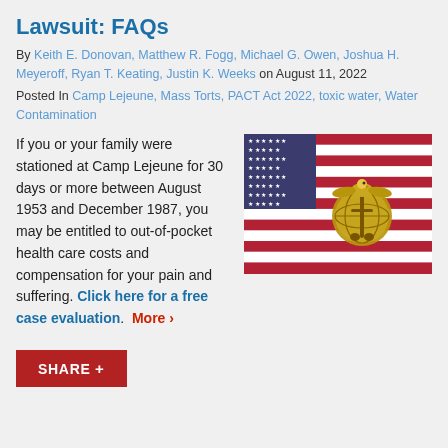Lawsuit: FAQs
By Keith E. Donovan, Matthew R. Fogg, Michael G. Owen, Joshua H. Meyeroff, Ryan T. Keating, Justin K. Weeks on August 11, 2022
Posted In Camp Lejeune, Mass Torts, PACT Act 2022, toxic water, Water Contamination
If you or your family were stationed at Camp Lejeune for 30 days or more between August 1953 and December 1987, you may be entitled to out-of-pocket health care costs and compensation for your pain and suffering. Click here for a free case evaluation. More ›
[Figure (photo): US Marine Corps emblem (eagle, globe and anchor in gold) resting on an American flag]
SHARE +